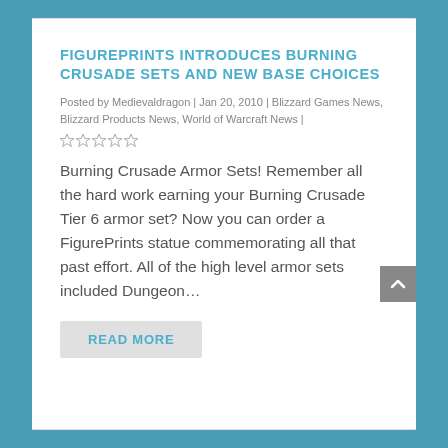FIGUREPRINTS INTRODUCES BURNING CRUSADE SETS AND NEW BASE CHOICES
Posted by Medievaldragon | Jan 20, 2010 | Blizzard Games News, Blizzard Products News, World of Warcraft News |
Burning Crusade Armor Sets! Remember all the hard work earning your Burning Crusade Tier 6 armor set? Now you can order a FigurePrints statue commemorating all that past effort. All of the high level armor sets included Dungeon…
READ MORE